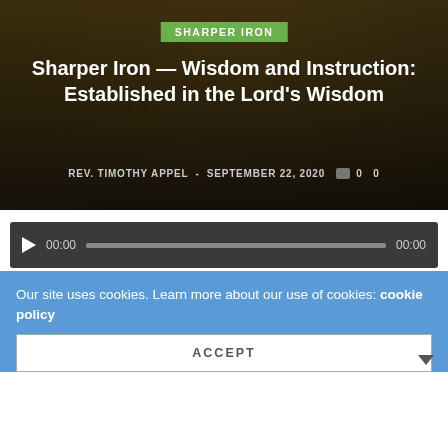SHARPER IRON
Sharper Iron — Wisdom and Instruction: Established in the Lord's Wisdom
REV. TIMOTHY APPEL - SEPTEMBER 22, 2020  0  0
[Figure (other): Audio player with play button, time display 00:00, progress bar, and end time 00:00]
Download Audio File
Rev. Jeff Hemmer, pastor at Bethany Lutheran Church in Fairview Heights, IL, joins host Rev. Timothy Appel
Our site uses cookies. Learn more about our use of cookies: cookie policy
ACCEPT